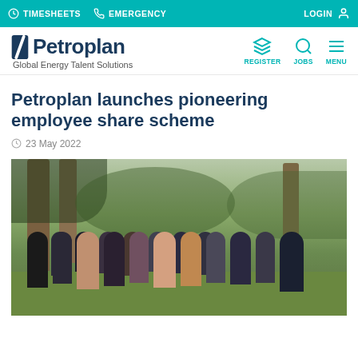TIMESHEETS   EMERGENCY   LOGIN
[Figure (logo): Petroplan logo with slash icon and tagline 'Global Energy Talent Solutions', with navigation icons for REGISTER, JOBS, MENU]
Petroplan launches pioneering employee share scheme
23 May 2022
[Figure (photo): Group photo of approximately 15 Petroplan employees standing outdoors in front of trees and greenery]